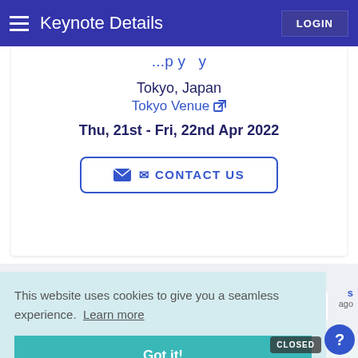Keynote Details | LOGIN
Tokyo, Japan
Tokyo Venue ↗
Thu, 21st - Fri, 22nd Apr 2022
✉ CONTACT US
Recent Activities
This website uses cookies to give you a seamless experience. Learn more
Got it!
Call for Proposals
CLOSED